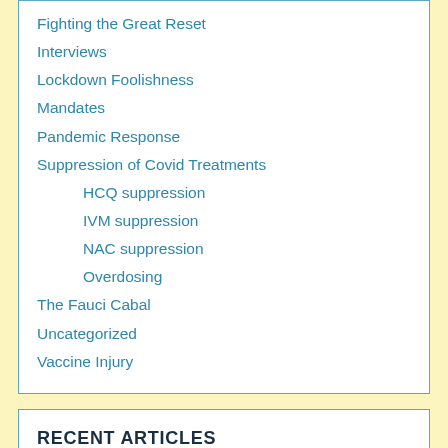Fighting the Great Reset
Interviews
Lockdown Foolishness
Mandates
Pandemic Response
Suppression of Covid Treatments
HCQ suppression
IVM suppression
NAC suppression
Overdosing
The Fauci Cabal
Uncategorized
Vaccine Injury
RECENT ARTICLES
I will be giving a 20 min. presentation for the World Council for Health on Monday at 2:15pm EDT